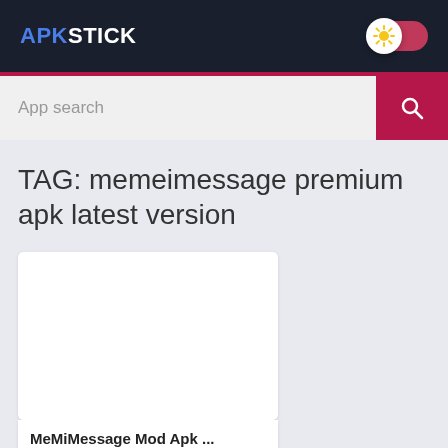APKSTICK
App search
TAG: memeimessage premium apk latest version
[Figure (screenshot): White card/thumbnail placeholder image for MeMiMessage Mod Apk]
MeMiMessage Mod Apk ...